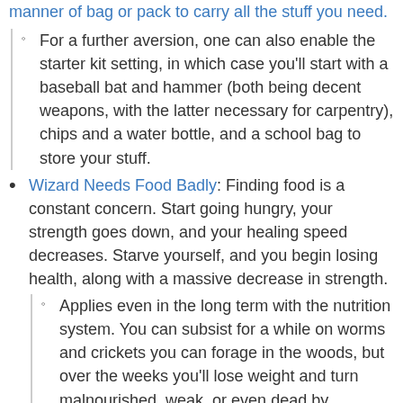manner of bag or pack to carry all the stuff you need.
For a further aversion, one can also enable the starter kit setting, in which case you'll start with a baseball bat and hammer (both being decent weapons, with the latter necessary for carpentry), chips and a water bottle, and a school bag to store your stuff.
Wizard Needs Food Badly: Finding food is a constant concern. Start going hungry, your strength goes down, and your healing speed decreases. Starve yourself, and you begin losing health, along with a massive decrease in strength.
Applies even in the long term with the nutrition system. You can subsist for a while on worms and crickets you can forage in the woods, but over the weeks you'll lose weight and turn malnourished, weak, or even dead by emaciation despite having a full belly.
Wrench Wench: None of the occupations are gender-restricted so it is entirely possible to make a female